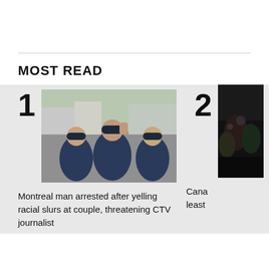MOST READ
[Figure (photo): Three men in dark t-shirts and caps outdoors, one appears to be confrontational]
Montreal man arrested after yelling racial slurs at couple, threatening CTV journalist
[Figure (photo): Dark image of a crowd scene, partially visible]
Cana least